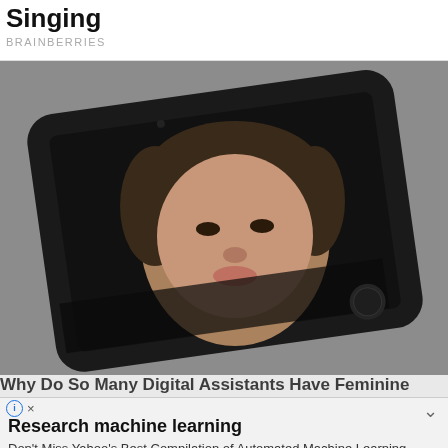Singing
BRAINBERRIES
[Figure (photo): A surreal photo of a young woman's face emerging from a black smartphone screen laid flat on a gray surface.]
Why Do So Many Digital Assistants Have Feminine
⊙ ×
Research machine learning
Don't Miss Yahoo's Best Compilation of Automated Machine Learning Results
continue